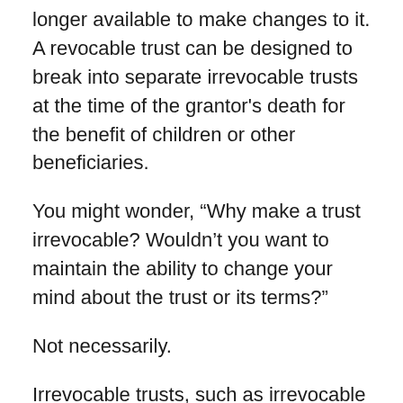longer available to make changes to it. A revocable trust can be designed to break into separate irrevocable trusts at the time of the grantor's death for the benefit of children or other beneficiaries.
You might wonder, "Why make a trust irrevocable? Wouldn't you want to maintain the ability to change your mind about the trust or its terms?"
Not necessarily.
Irrevocable trusts, such as irrevocable life insurance trusts, are commonly used to remove assets from a person's estate and thus avoids the assets being taxed. Transferring assets into an